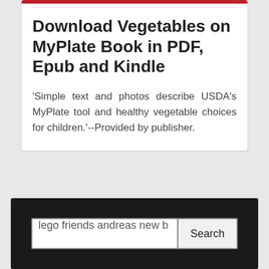Download Vegetables on MyPlate Book in PDF, Epub and Kindle
'Simple text and photos describe USDA's MyPlate tool and healthy vegetable choices for children.'--Provided by publisher.
lego friends andreas new b | Search